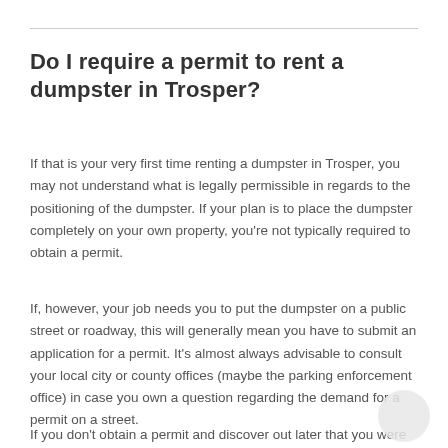Do I require a permit to rent a dumpster in Trosper?
If that is your very first time renting a dumpster in Trosper, you may not understand what is legally permissible in regards to the positioning of the dumpster. If your plan is to place the dumpster completely on your own property, you're not typically required to obtain a permit.
If, however, your job needs you to put the dumpster on a public street or roadway, this will generally mean you have to submit an application for a permit. It's almost always advisable to consult your local city or county offices (maybe the parking enforcement office) in case you own a question regarding the demand for a permit on a street.
If you don't obtain a permit and discover out later that you were